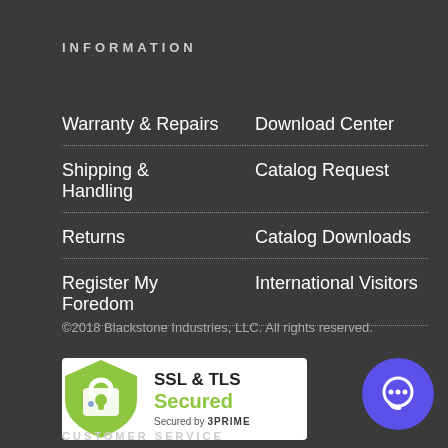INFORMATION
Warranty & Repairs
Download Center
Shipping & Handling
Catalog Request
Returns
Catalog Downloads
Register My Foredom
International Visitors
©2018 Blackstone Industries, LLC. All rights reserved.
[Figure (logo): SSL & TLS Secured badge with green shield icon containing a padlock and text 'SSL & TLS Secured by 3PRIME']
[Figure (logo): Purple circular chat bubble icon]
CUSTOMER SERVICE